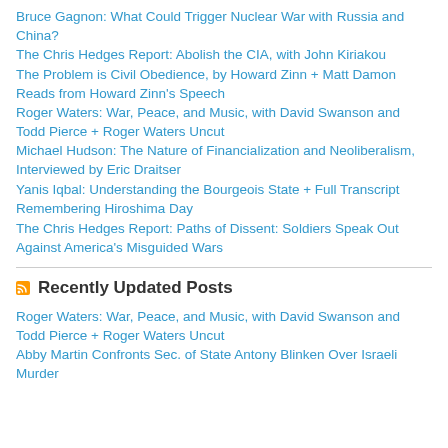Bruce Gagnon: What Could Trigger Nuclear War with Russia and China?
The Chris Hedges Report: Abolish the CIA, with John Kiriakou
The Problem is Civil Obedience, by Howard Zinn + Matt Damon Reads from Howard Zinn's Speech
Roger Waters: War, Peace, and Music, with David Swanson and Todd Pierce + Roger Waters Uncut
Michael Hudson: The Nature of Financialization and Neoliberalism, Interviewed by Eric Draitser
Yanis Iqbal: Understanding the Bourgeois State + Full Transcript
Remembering Hiroshima Day
The Chris Hedges Report: Paths of Dissent: Soldiers Speak Out Against America's Misguided Wars
Recently Updated Posts
Roger Waters: War, Peace, and Music, with David Swanson and Todd Pierce + Roger Waters Uncut
Abby Martin Confronts Sec. of State Antony Blinken Over Israeli Murder